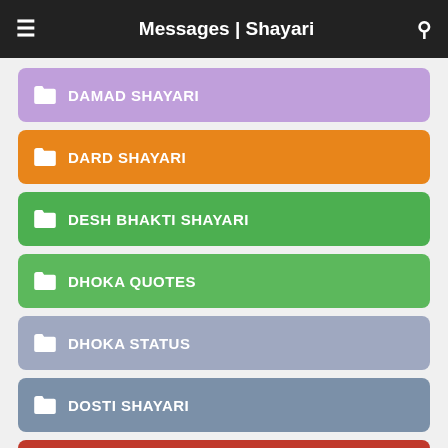Messages | Shayari
DAMAD SHAYARI
DARD SHAYARI
DESH BHAKTI SHAYARI
DHOKA QUOTES
DHOKA STATUS
DOSTI SHAYARI
DOUBLE MEANING JOKES